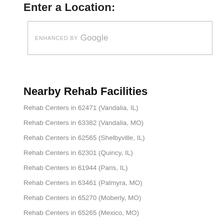Enter a Location:
[Figure (screenshot): Google search/autocomplete input box with 'ENHANCED BY Google' label]
Nearby Rehab Facilities
Rehab Centers in 62471 (Vandalia, IL)
Rehab Centers in 63382 (Vandalia, MO)
Rehab Centers in 62565 (Shelbyville, IL)
Rehab Centers in 62301 (Quincy, IL)
Rehab Centers in 61944 (Paris, IL)
Rehab Centers in 63461 (Palmyra, MO)
Rehab Centers in 65270 (Moberly, MO)
Rehab Centers in 65265 (Mexico, MO)